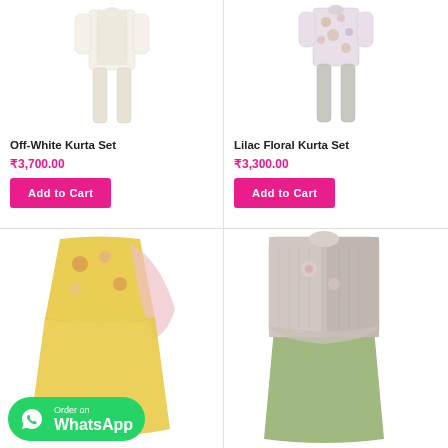[Figure (photo): Off-White Kurta Set product photo showing a cream/white kurta with matching white churidar pants]
[Figure (photo): Lilac Floral Kurta Set product photo showing a floral printed lilac kurta with grey pants]
Off-White Kurta Set
₹3,700.00
Add to Cart
Lilac Floral Kurta Set
₹3,300.00
Add to Cart
[Figure (photo): Yellow floral anarkali/kurta set with pink dupatta]
[Figure (photo): Grey textured jacket with olive green skirt set]
[Figure (logo): WhatsApp Order on WhatsApp green badge button]